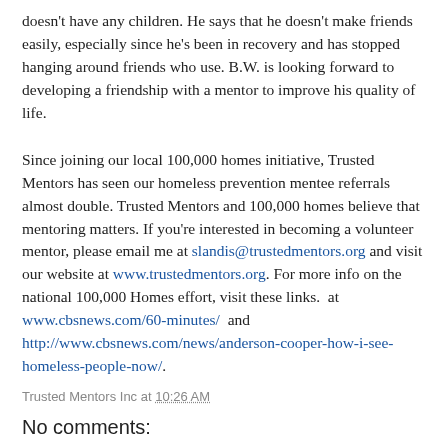doesn't have any children. He says that he doesn't make friends easily, especially since he's been in recovery and has stopped hanging around friends who use. B.W. is looking forward to developing a friendship with a mentor to improve his quality of life.
Since joining our local 100,000 homes initiative, Trusted Mentors has seen our homeless prevention mentee referrals almost double. Trusted Mentors and 100,000 homes believe that mentoring matters. If you're interested in becoming a volunteer mentor, please email me at slandis@trustedmentors.org and visit our website at www.trustedmentors.org. For more info on the national 100,000 Homes effort, visit these links.  at www.cbsnews.com/60-minutes/  and http://www.cbsnews.com/news/anderson-cooper-how-i-see-homeless-people-now/.
Trusted Mentors Inc at 10:26 AM
No comments:
Post a Comment